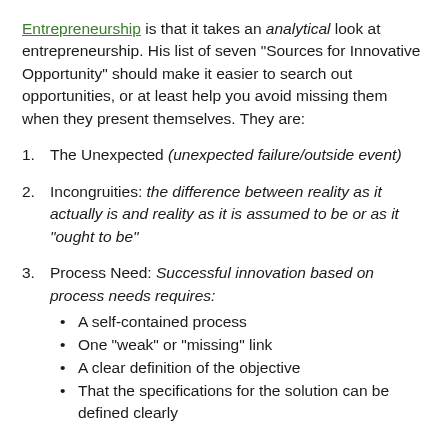Entrepreneurship is that it takes an analytical look at entrepreneurship. His list of seven “Sources for Innovative Opportunity” should make it easier to search out opportunities, or at least help you avoid missing them when they present themselves. They are:
1. The Unexpected (unexpected failure/outside event)
2. Incongruities: the difference between reality as it actually is and reality as it is assumed to be or as it “ought to be”
3. Process Need: Successful innovation based on process needs requires:
• A self-contained process
• One “weak” or “missing” link
• A clear definition of the objective
• That the specifications for the solution can be defined clearly